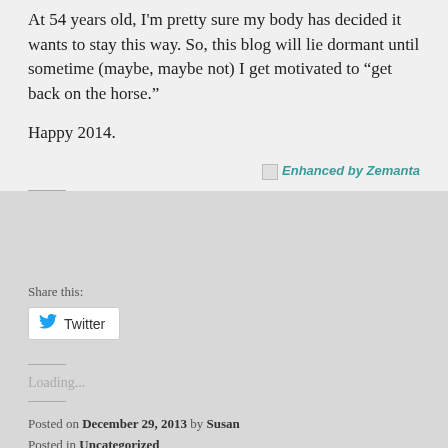At 54 years old, I'm pretty sure my body has decided it wants to stay this way. So, this blog will lie dormant until sometime (maybe, maybe not) I get motivated to “get back on the horse.”
Happy 2014.
[Figure (other): Enhanced by Zemanta badge/link]
Share this:
Twitter
Loading...
Posted on December 29, 2013 by Susan
Posted in Uncategorized
Tagged metabolically healthy, obesity, weight loss, weight loss